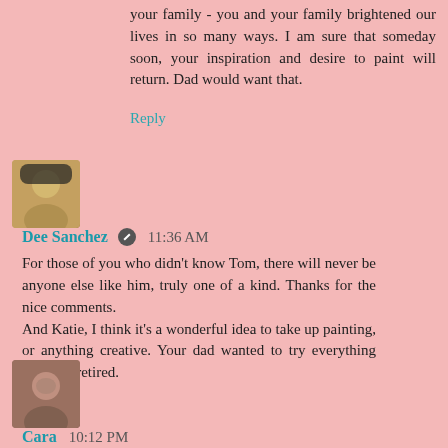your family - you and your family brightened our lives in so many ways. I am sure that someday soon, your inspiration and desire to paint will return. Dad would want that.
Reply
Dee Sanchez 11:36 AM
For those of you who didn't know Tom, there will never be anyone else like him, truly one of a kind. Thanks for the nice comments.
And Katie, I think it's a wonderful idea to take up painting, or anything creative. Your dad wanted to try everything when he retired.
Reply
Cara 10:12 PM
So heartfelt Dee. And having had the pleasure of meeting you I know your sincerity as you write about Tom and I'm sorry for your loss. I often think about a time when I will be able to return to NM and imagine the two of us taking a few